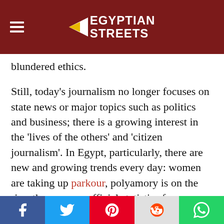Egyptian Streets
blundered ethics.
Still, today's journalism no longer focuses on state news or major topics such as politics and business; there is a growing interest in the 'lives of the others' and 'citizen journalism'. In Egypt, particularly, there are new and growing trends every day: women are taking up parkour, polyamory is on the rise, there are no official statistics for sexually transmitted infections, marital rape is not considered felony although its victims are numerous, abortions run amok, and prostitution is still present although heavily contested.
It is important to report on these matters, but it is